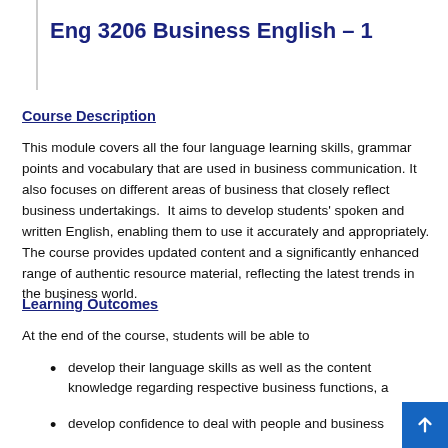Eng 3206 Business English – 1
Course Description
This module covers all the four language learning skills, grammar points and vocabulary that are used in business communication. It also focuses on different areas of business that closely reflect business undertakings.  It aims to develop students' spoken and written English, enabling them to use it accurately and appropriately. The course provides updated content and a significantly enhanced range of authentic resource material, reflecting the latest trends in the business world.
Learning Outcomes
At the end of the course, students will be able to
develop their language skills as well as the content knowledge regarding respective business functions, a
develop confidence to deal with people and business